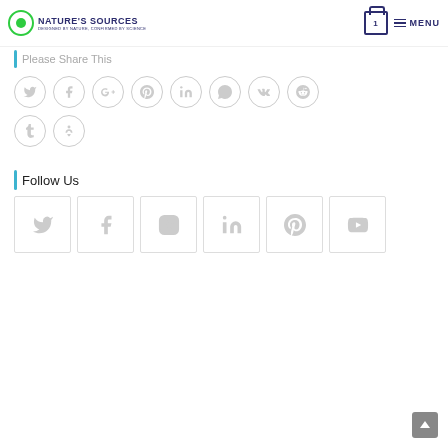Nature's Sources — Designed by Nature, Confirmed by Science — Cart 1 — Menu
Please Share This
[Figure (infographic): Row of circular social share buttons: Twitter, Facebook, Google+, Pinterest, LinkedIn, Phone/Viber, VK, Reddit, then second row: Tumblr, Viadeo]
Follow Us
[Figure (infographic): Six square social follow buttons: Twitter, Facebook, Instagram, LinkedIn, Pinterest, YouTube]